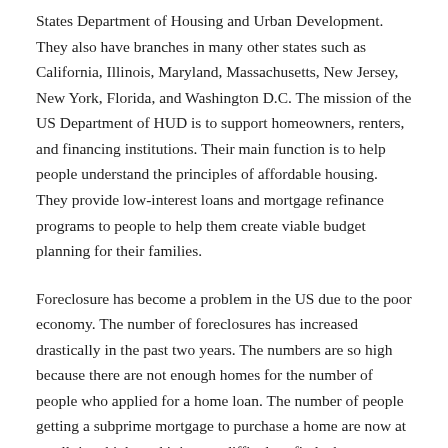States Department of Housing and Urban Development. They also have branches in many other states such as California, Illinois, Maryland, Massachusetts, New Jersey, New York, Florida, and Washington D.C. The mission of the US Department of HUD is to support homeowners, renters, and financing institutions. Their main function is to help people understand the principles of affordable housing. They provide low-interest loans and mortgage refinance programs to people to help them create viable budget planning for their families.
Foreclosure has become a problem in the US due to the poor economy. The number of foreclosures has increased drastically in the past two years. The numbers are so high because there are not enough homes for the number of people who applied for a home loan. The number of people getting a subprime mortgage to purchase a home are now at an all time high, and it is now difficult to find a home to purchase or refinance.